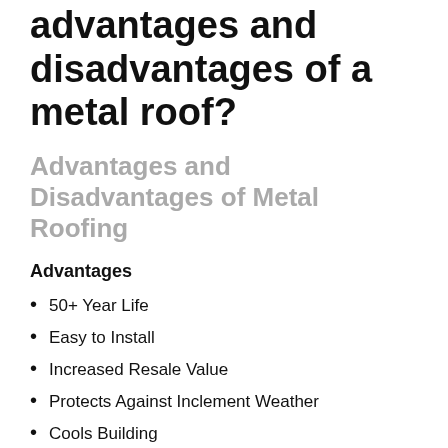advantages and disadvantages of a metal roof?
Advantages and Disadvantages of Metal Roofing
Advantages
50+ Year Life
Easy to Install
Increased Resale Value
Protects Against Inclement Weather
Cools Building
Class A Fire Rating
Reflect Sun Rays